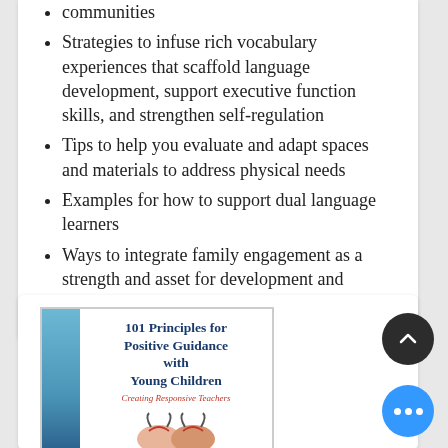communities
Strategies to infuse rich vocabulary experiences that scaffold language development, support executive function skills, and strengthen self-regulation
Tips to help you evaluate and adapt spaces and materials to address physical needs
Examples for how to support dual language learners
Ways to integrate family engagement as a strength and asset for development and learning
[Figure (photo): Book cover: 101 Principles for Positive Guidance with Young Children — Creating Responsive Teachers, with blue spine and illustration of children]